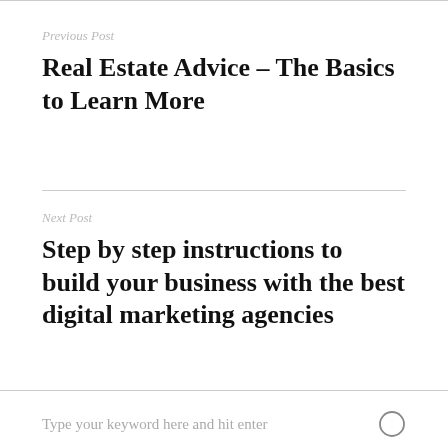Previous Post
Real Estate Advice – The Basics to Learn More
Next Post
Step by step instructions to build your business with the best digital marketing agencies
Type your keyword here and hit enter